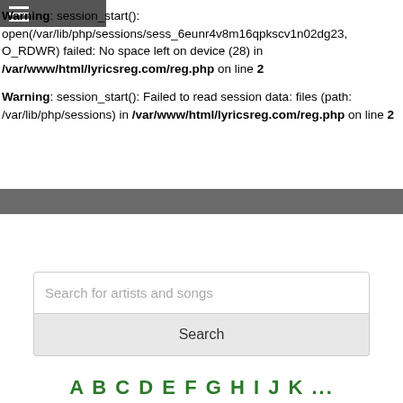Warning: session_start(): open(/var/lib/php/sessions/sess_6eunr4v8m16qpkscv1n02dg23, O_RDWR) failed: No space left on device (28) in /var/www/html/lyricsreg.com/reg.php on line 2
Warning: session_start(): Failed to read session data: files (path: /var/lib/php/sessions) in /var/www/html/lyricsreg.com/reg.php on line 2
Search for artists and songs
Search
A B C D E F G H I J K ...